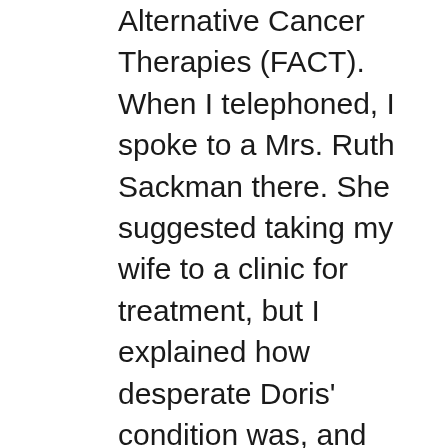Alternative Cancer Therapies (FACT). When I telephoned, I spoke to a Mrs. Ruth Sackman there. She suggested taking my wife to a clinic for treatment, but I explained how desperate Doris' condition was, and that moving her was impossible. Her response was a firm, “Then we will do our best, if you are willing to cooperate fully.”
I said, “I am so afraid of losing her that I will help any way I can. Let’s start right away I just hope it’s not too late!”
Mrs. Sackman sent us folders with information about the Alternative Cancer Therapy methods of treatment, but in the few days before the material arrived we